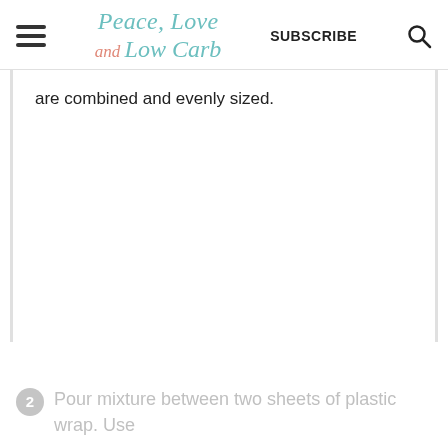Peace, Love and Low Carb — SUBSCRIBE
are combined and evenly sized.
2 Pour mixture between two sheets of plastic wrap. Use